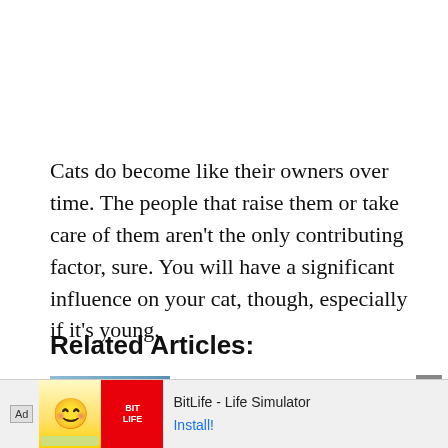Cats do become like their owners over time. The people that raise them or take care of them aren't the only contributing factor, sure. You will have a significant influence on your cat, though, especially if it's young.
Related Articles:
[Figure (photo): Thumbnail image for article about cats looking at their owners]
Do Cats Look At Their Owners...
[Figure (screenshot): BitLife - Life Simulator advertisement banner with smiley face icon and install button]